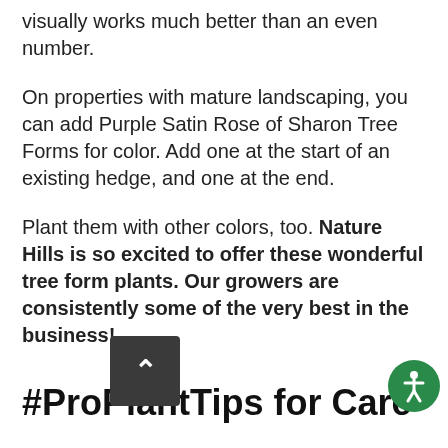visually works much better than an even number.
On properties with mature landscaping, you can add Purple Satin Rose of Sharon Tree Forms for color. Add one at the start of an existing hedge, and one at the end.
Plant them with other colors, too. Nature Hills is so excited to offer these wonderful tree form plants. Our growers are consistently some of the very best in the business!
#ProPlantTips for Care
The needs of these marvelous small trees are quite simple. Site them correctly, water them regularly and you'll [button] a great performance year after year.